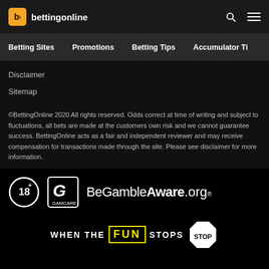bettingonline
Betting Sites | Promotions | Betting Tips | Accumulator Tips
Disclaimer
Sitemap
©BettingOnline 2020 All rights reserved. Odds correct at time of writing and subject to fluctuations, all bets are made at the customers own risk and we cannot guarantee success. BettingOnline acts as a fair and independent reviewer and may receive compensation for transactions made through the site. Please see disclaimer for more information.
[Figure (logo): 18+ logo, GamCare logo, BeGambleAware.org logo]
[Figure (infographic): WHEN THE FUN STOPS STOP responsible gambling message]